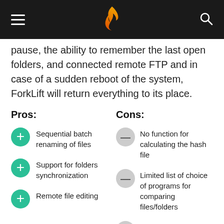Navigation bar with hamburger menu, logo, and search icon
pause, the ability to remember the last open folders, and connected remote FTP and in case of a sudden reboot of the system, ForkLift will return everything to its place.
Pros:
Sequential batch renaming of files
Support for folders synchronization
Remote file editing
Cons:
No function for calculating the hash file
Limited list of choice of programs for comparing files/folders
Errors may occur